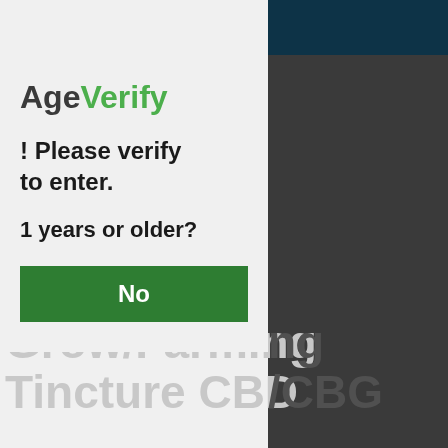[Figure (screenshot): Age verification modal overlay on a website. Left panel is light gray with AgeVerify logo, text prompting age verification, and a green 'No' button. Right panel is dark gray with a dark navy top bar. Background shows partially visible text about CBD/CBG products.]
AgeVerify
! Please verify to enter.
1 years or older?
No